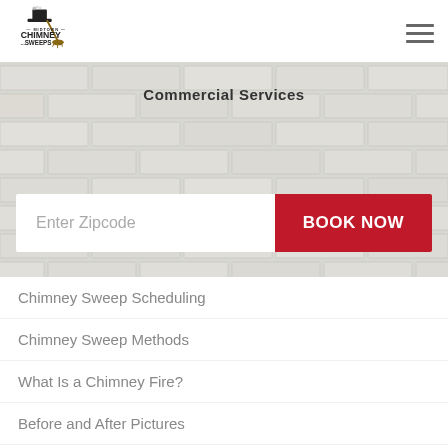[Figure (logo): Midtown Chimney Sweeps logo with top hat and broom icon]
Commercial Services
Enter Zipcode
BOOK NOW
Chimney Sweep Scheduling
Chimney Sweep Methods
What Is a Chimney Fire?
Before and After Pictures
Value Statement
Mission Statement